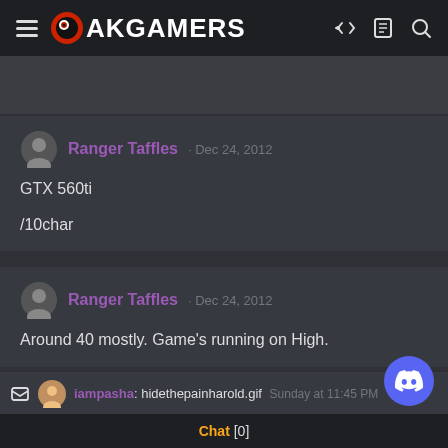PAKGAMERS
Ranger Taffles · Dec 24, 2012
GTX 560ti
/10char
Ranger Taffles · Dec 24, 2012
Around 40 mostly. Game's running on High.
iampasha: hidethepainharold.gif Sunday at 11:45 PM
Chat [0]